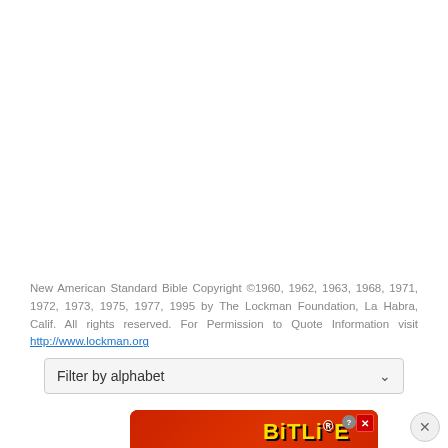New American Standard Bible Copyright ©1960, 1962, 1963, 1968, 1971, 1972, 1973, 1975, 1977, 1995 by The Lockman Foundation, La Habra, Calif. All rights reserved. For Permission to Quote Information visit http://www.lockman.org
Filter by alphabet
[Figure (other): Advertisement banner for BitLife game with red background, emoji characters, and 'REAL CHOICES' text]